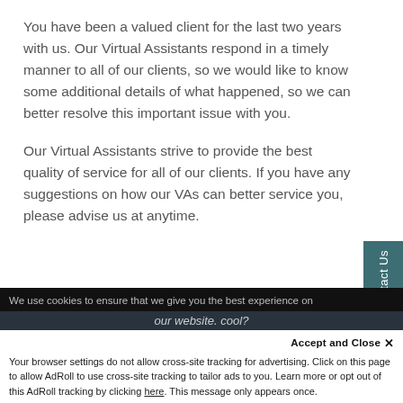You have been a valued client for the last two years with us. Our Virtual Assistants respond in a timely manner to all of our clients, so we would like to know some additional details of what happened, so we can better resolve this important issue with you.
Our Virtual Assistants strive to provide the best quality of service for all of our clients. If you have any suggestions on how our VAs can better service you, please advise us at anytime.
We use cookies to ensure that we give you the best experience on our website. cool?
Your browser settings do not allow cross-site tracking for advertising. Click on this page to allow AdRoll to use cross-site tracking to tailor ads to you. Learn more or opt out of this AdRoll tracking by clicking here. This message only appears once.